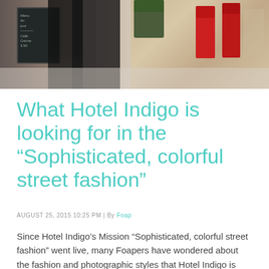[Figure (photo): Street scene photo showing a person in dark clothing near a black door with chalkboard sign on left, and outdoor cafe with red chairs and greenery on the right side.]
What Hotel Indigo is looking for in the “Sophisticated, colorful street fashion”
AUGUST 25, 2015 10:25 PM | By Foap
Since Hotel Indigo’s Mission “Sophisticated, colorful street fashion” went live, many Foapers have wondered about the fashion and photographic styles that Hotel Indigo is looking for. We are getting lots of beautiful shots but not... Read more →